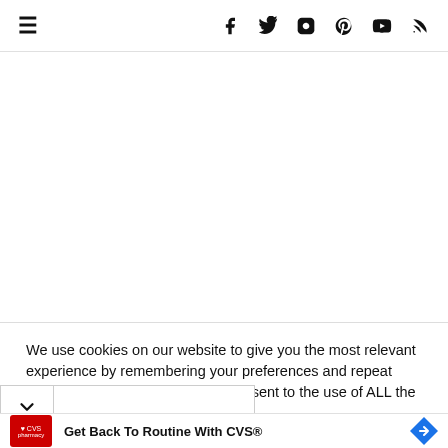Navigation bar with hamburger menu and social icons (Facebook, Twitter, Instagram, Pinterest, YouTube, RSS)
We use cookies on our website to give you the most relevant experience by remembering your preferences and repeat visits. By clicking “Accept”, you consent to the use of ALL the cookies.
Do not sell my personal information.
[Figure (screenshot): Cookie consent modal partial view with chevron and modal bar with green underline]
Get Back To Routine With CVS®